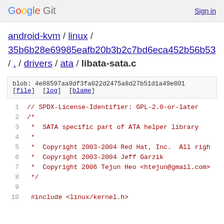Google Git  Sign in
android-kvm / linux / 35b6b28e69985eafb20b3b2c7bd6eca452b56b53 / . / drivers / ata / libata-sata.c
blob: 4e88597aa9df3fa022d2475a8d27b51d1a49e801 [file] [log] [blame]
1  // SPDX-License-Identifier: GPL-2.0-or-later
2  /*
3   * SATA specific part of ATA helper library
4   *
5   *  Copyright 2003-2004 Red Hat, Inc.  All righ
6   *  Copyright 2003-2004 Jeff Garzik
7   *  Copyright 2006 Tejun Heo <htejun@gmail.com>
8   */
9  
10  #include <linux/kernel.h>